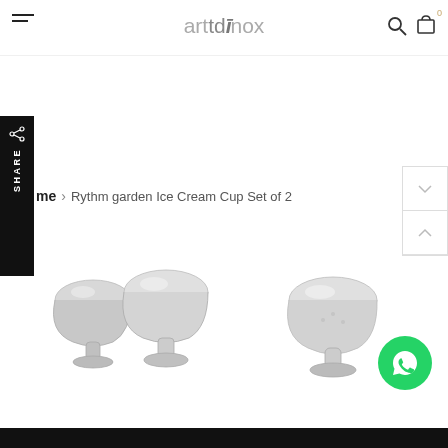arttdinox — navigation header with hamburger menu, logo, search and cart icons
SHARE
me > Rythm garden Ice Cream Cup Set of 2
[Figure (photo): Two stainless steel ice cream cups with pedestal bases, mirrored finish, set of 2]
[Figure (photo): Single stainless steel ice cream cup with pedestal base, mirrored finish]